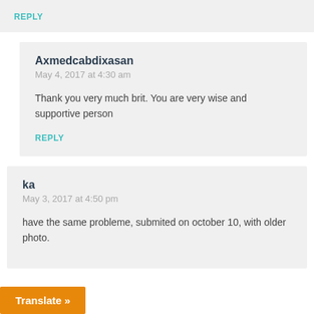REPLY
Axmedcabdixasan
May 4, 2017 at 4:30 am
Thank you very much brit. You are very wise and supportive person
REPLY
ka
May 3, 2017 at 4:50 pm
have the same probleme, submited on october 10, with older photo.
Translate »